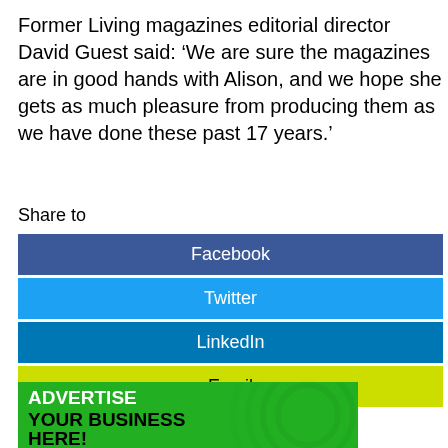Former Living magazines editorial director David Guest said: ‘We are sure the magazines are in good hands with Alison, and we hope she gets as much pleasure from producing them as we have done these past 17 years.’
Share to
Facebook
Twitter
LinkedIn
Email
[Figure (infographic): Green advertisement banner with text: ADVERTISE YOUR BUSINESS HERE!]